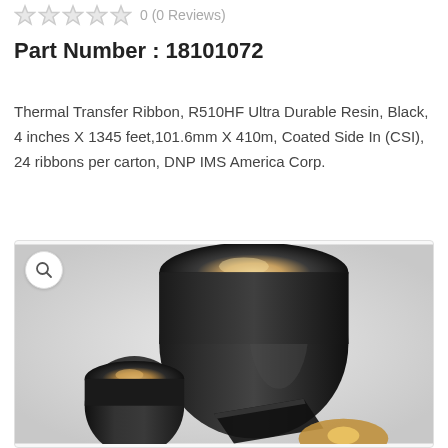0 (0 Reviews)
Part Number : 18101072
Thermal Transfer Ribbon, R510HF Ultra Durable Resin, Black, 4 inches X 1345 feet,101.6mm X 410m, Coated Side In (CSI), 24 ribbons per carton, DNP IMS America Corp.
[Figure (photo): Photo of black thermal transfer ribbon rolls - one large roll standing upright and two smaller rolls in front, all with cream/white cardboard cores visible, on a white background]